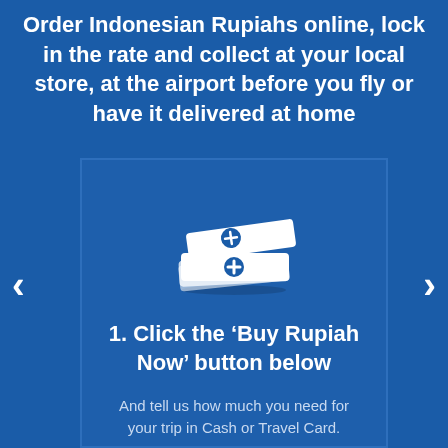Order Indonesian Rupiahs online, lock in the rate and collect at your local store, at the airport before you fly or have it delivered at home
[Figure (illustration): White icon of stacked cards/books with a plus symbol circle on the top card, on a blue background]
1. Click the ‘Buy Rupiah Now’ button below
And tell us how much you need for your trip in Cash or Travel Card.